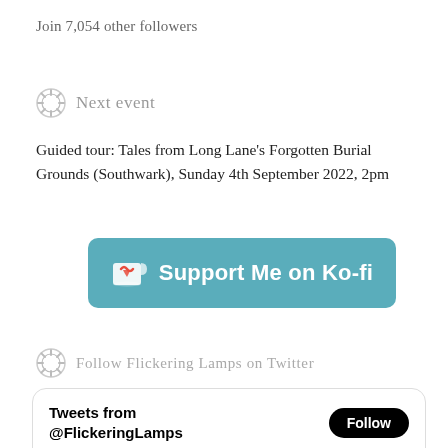Join 7,054 other followers
Next event
Guided tour: Tales from Long Lane's Forgotten Burial Grounds (Southwark), Sunday 4th September 2022, 2pm
[Figure (other): Support Me on Ko-fi button — teal rounded rectangle with white cup icon and bold white text]
Follow Flickering Lamps on Twitter
[Figure (screenshot): Embedded Twitter widget showing Tweets from @FlickeringLamps with Follow button and Flickering Lamps Retweeted notice]